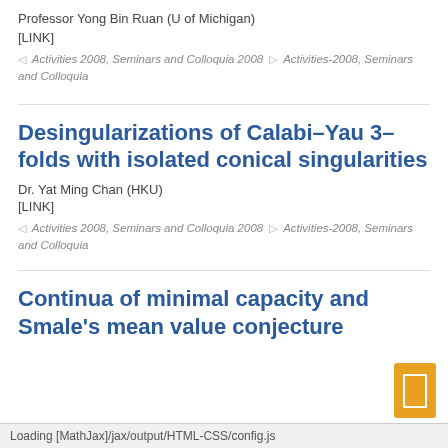Professor Yong Bin Ruan (U of Michigan)
[LINK]
◁  Activities 2008, Seminars and Colloquia 2008  ▷  Activities-2008, Seminars and Colloquia
Desingularizations of Calabi–Yau 3–folds with isolated conical singularities
Dr. Yat Ming Chan (HKU)
[LINK]
◁  Activities 2008, Seminars and Colloquia 2008  ▷  Activities-2008, Seminars and Colloquia
Continua of minimal capacity and Smale's mean value conjecture
Loading [MathJax]/jax/output/HTML-CSS/config.js